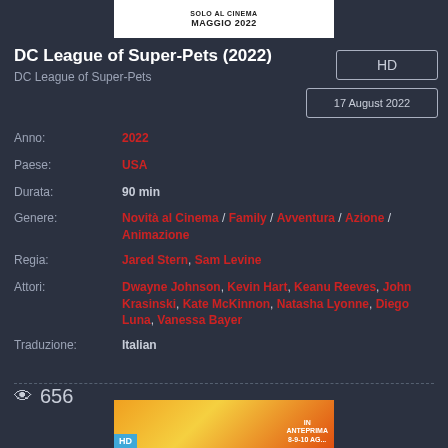[Figure (photo): Top banner image showing 'SOLO AL CINEMA MAGGIO 2022' text on white background]
DC League of Super-Pets (2022)
DC League of Super-Pets
[Figure (other): HD badge button]
[Figure (other): 17 August 2022 date badge]
Anno: 2022
Paese: USA
Durata: 90 min
Genere: Novità al Cinema / Family / Avventura / Azione / Animazione
Regia: Jared Stern, Sam Levine
Attori: Dwayne Johnson, Kevin Hart, Keanu Reeves, John Krasinski, Kate McKinnon, Natasha Lyonne, Diego Luna, Vanessa Bayer
Traduzione: Italian
656
[Figure (photo): Bottom promotional banner with orange/yellow background showing HD badge and ANTEPRIMA text]